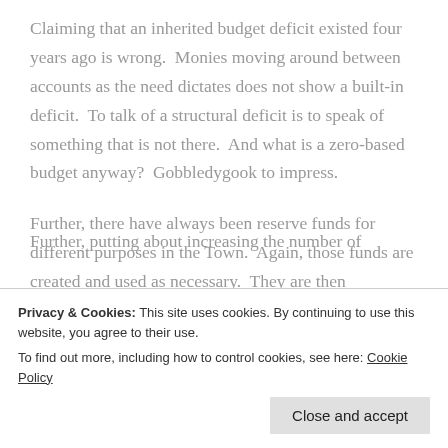Claiming that an inherited budget deficit existed four years ago is wrong.  Monies moving around between accounts as the need dictates does not show a built-in deficit.  To talk of a structural deficit is to speak of something that is not there.  And what is a zero-based budget anyway?  Gobbledygook to impress.
Further, there have always been reserve funds for different purposes in the Town.  Again, those funds are created and used as necessary.  They are then replenished as necessary.  Holding tax increases to 2%
Further, putting about increasing the number of
Privacy & Cookies: This site uses cookies. By continuing to use this website, you agree to their use.
To find out more, including how to control cookies, see here: Cookie Policy